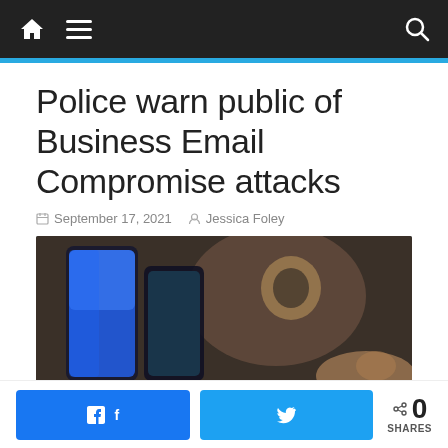Police warn public of Business Email Compromise attacks - navigation bar
Police warn public of Business Email Compromise attacks
September 17, 2021   Jessica Foley
[Figure (photo): Close-up photo of a smartphone screen showing a blue interface, with a blurred background showing a person holding a phone in a dimly lit environment.]
0 SHARES